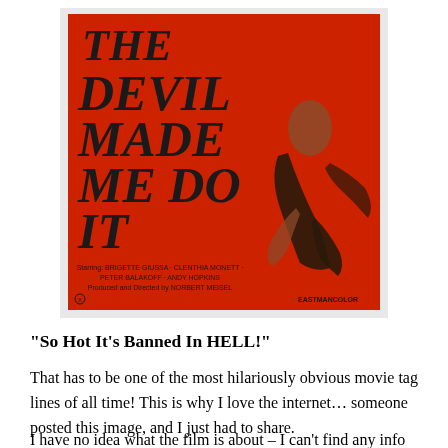[Figure (photo): Movie poster for 'The Devil Made Me Do It' on a red background with large black gothic text and an illustrated figure of a woman in black. Credits read: Starring: BRIGETTE GIUSSA · CLENTHIA MONETT · PETER BALAKOFF · ANDY HOPKINS · Produced and Directed by NORBERT MEISEL. EASTMANCOLOR label in bottom right.]
“So Hot It’s Banned In HELL!”
That has to be one of the most hilariously obvious movie tag lines of all time! This is why I love the internet… someone posted this image, and I just had to share.
I have no idea what the film is about – I can’t find any info